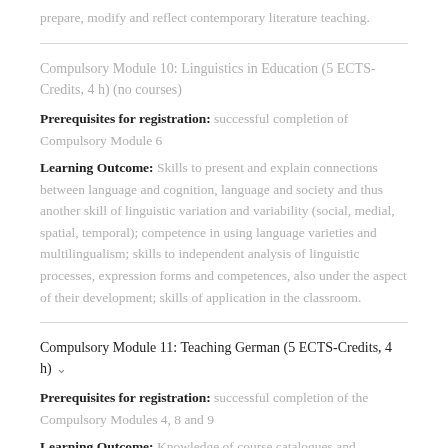prepare, modify and reflect contemporary literature teaching.
Compulsory Module 10: Linguistics in Education (5 ECTS-Credits, 4 h) (no courses)
Prerequisites for registration: successful completion of Compulsory Module 6
Learning Outcome: Skills to present and explain connections between language and cognition, language and society and thus another skill of linguistic variation and variability (social, medial, spatial, temporal); competence in using language varieties and multilingualism; skills to independent analysis of linguistic processes, expression forms and competences, also under the aspect of their development; skills of application in the classroom.
Compulsory Module 11: Teaching German (5 ECTS-Credits, 4 h)
Prerequisites for registration: successful completion of the Compulsory Modules 4, 8 and 9
Learning Outcome: Knowledge of course catalogues and